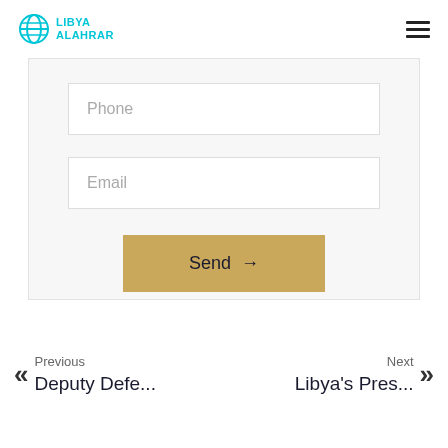LIBYA ALAHRAR
[Figure (screenshot): Libya Alahrar website header with logo (globe icon and text 'LIBYA ALAHRAR' in cyan) on the left and a hamburger menu icon on the right]
Phone
Email
Send →
Previous
Deputy Defe...
Next
Libya's Pres...